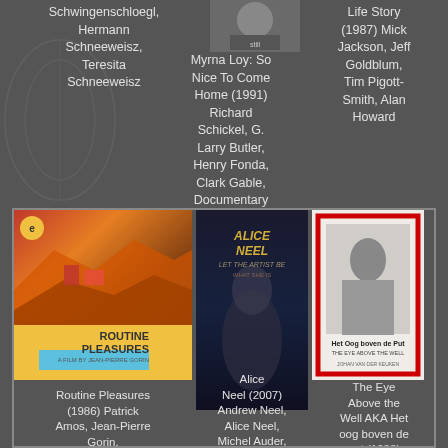Schwingenschloegl, Hermann Schneeweisz, Teresita Schneeweisz
[Figure (photo): Small movie cover/still image at top center]
Life Story (1987) Mick Jackson, Jeff Goldblum, Tim Pigott-Smith, Alan Howard
Myrna Loy: So Nice To Come Home (1991) Richard Schickel, G. Larry Butler, Henry Fonda, Clark Gable, Documentary
[Figure (photo): Routine Pleasures movie cover - colorful landscape with yellow bottom strip]
[Figure (photo): Alice Neel movie cover - dark background with golden title text]
[Figure (photo): Het Oog boven de Put movie cover - black and white photo with red border]
Routine Pleasures (1986) Patrick Amos, Jean-Pierre Gorin, Documentary
Alice Neel (2007) Andrew Neel, Alice Neel, Michel Auder, Phillip Bonosky
The Eye Above the Well AKA Het oog boven de put (1988) Johan van der Keuken